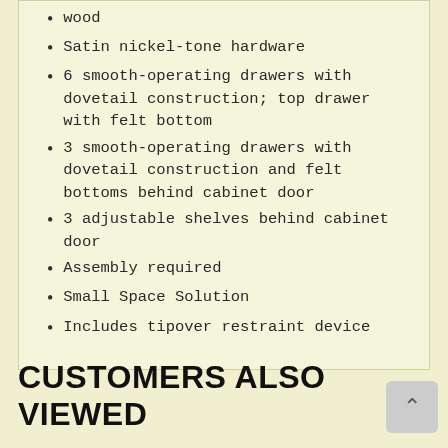wood
Satin nickel-tone hardware
6 smooth-operating drawers with dovetail construction; top drawer with felt bottom
3 smooth-operating drawers with dovetail construction and felt bottoms behind cabinet door
3 adjustable shelves behind cabinet door
Assembly required
Small Space Solution
Includes tipover restraint device
CUSTOMERS ALSO VIEWED